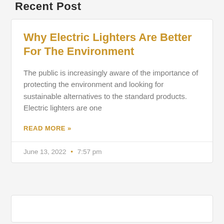Recent Post
Why Electric Lighters Are Better For The Environment
The public is increasingly aware of the importance of protecting the environment and looking for sustainable alternatives to the standard products. Electric lighters are one
READ MORE »
June 13, 2022  •  7:57 pm